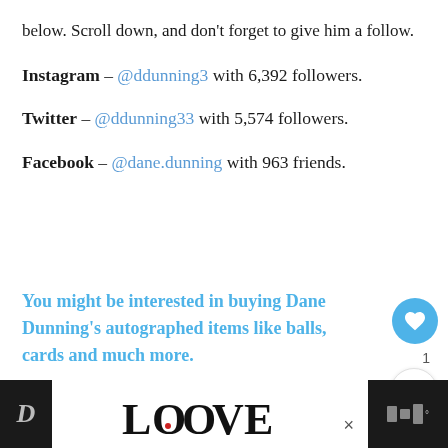below. Scroll down, and don't forget to give him a follow.
Instagram – @ddunning3 with 6,392 followers.
Twitter – @ddunning33 with 5,574 followers.
Facebook – @dane.dunning with 963 friends.
You might be interested in buying Dane Dunning's autographed items like balls, cards and much more.
[Figure (infographic): Social media floating action buttons: heart/like button (blue circle with heart icon) and share button (white circle with share icon), with count '1' below heart button]
[Figure (infographic): Bottom advertisement bar with dark background, 'D' letter on left, 'LOOVE' stylized logo in center on white background, X close button, and music/audio icon on right]